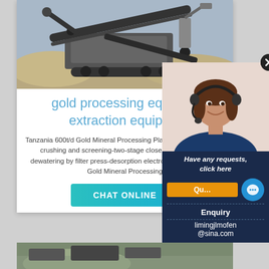[Figure (photo): Mining/crushing machinery equipment at a quarry site, showing a large mobile crusher with conveyor belts and excavated earth in the background.]
gold processing equipme extraction equipme
Tanzania 600t/d Gold Mineral Processing Plant. Two-stage circuit crushing and screening-two-stage closed-circuit tailings dewatering by filter press-desorption electro Zimbabwe 700t/d Gold Mineral Processing
CHAT ONLINE
[Figure (photo): Female customer service representative with headset, smiling, with a chat overlay panel showing contact options.]
Have any requests, click here
Quo
Enquiry
limingjlmofen@sina.com
[Figure (photo): Second row of mining/industrial imagery partially visible at the bottom of the page.]